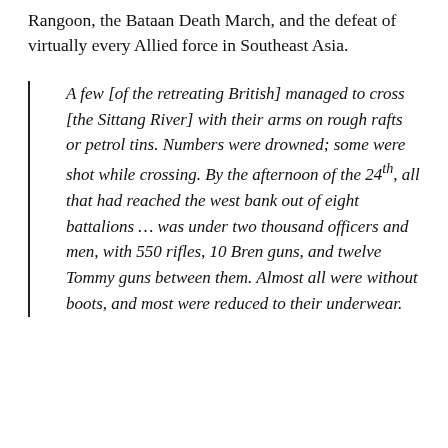Rangoon, the Bataan Death March, and the defeat of virtually every Allied force in Southeast Asia.
A few [of the retreating British] managed to cross [the Sittang River] with their arms on rough rafts or petrol tins. Numbers were drowned; some were shot while crossing. By the afternoon of the 24th, all that had reached the west bank out of eight battalions ... was under two thousand officers and men, with 550 rifles, 10 Bren guns, and twelve Tommy guns between them. Almost all were without boots, and most were reduced to their underwear.